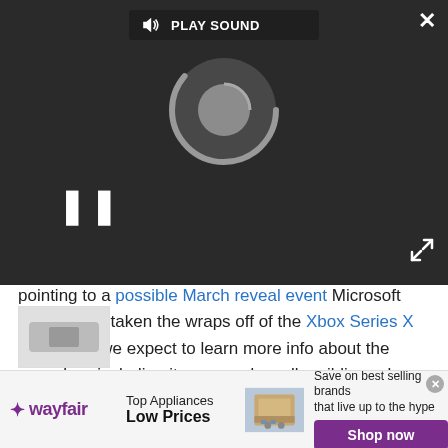[Figure (screenshot): Video player overlay with dark background showing a loading/spinner circle, play sound button, pause button (II), close button (X), and expand icon]
pointing to a possible March reveal event Microsoft has already taken the wraps off of the Xbox Series X specs, but we expect to learn more info about the console -- including its rumored smaller sibling -- by E3 2020.
Today's best Sony PlayStation 4 Pro deals
★★★★½ 358 Amazon customer reviews
$399.99
[Figure (screenshot): Wayfair advertisement banner: logo, Top Appliances Low Prices text, appliance image, Save on best selling brands that live up to the hype, Shop now button]